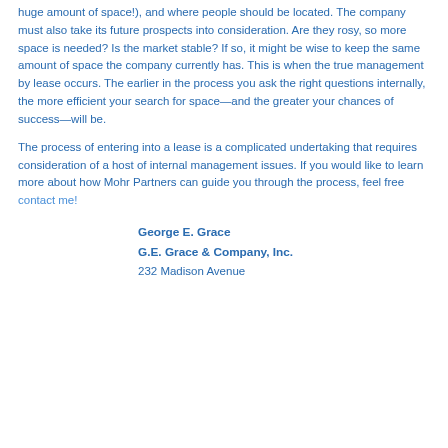huge amount of space!), and where people should be located. The company must also take its future prospects into consideration. Are they rosy, so more space is needed? Is the market stable? If so, it might be wise to keep the same amount of space the company currently has. This is when the true management by lease occurs. The earlier in the process you ask the right questions internally, the more efficient your search for space—and the greater your chances of success—will be.
The process of entering into a lease is a complicated undertaking that requires consideration of a host of internal management issues. If you would like to learn more about how Mohr Partners can guide you through the process, feel free contact me!
George E. Grace
G.E. Grace & Company, Inc.
232 Madison Avenue